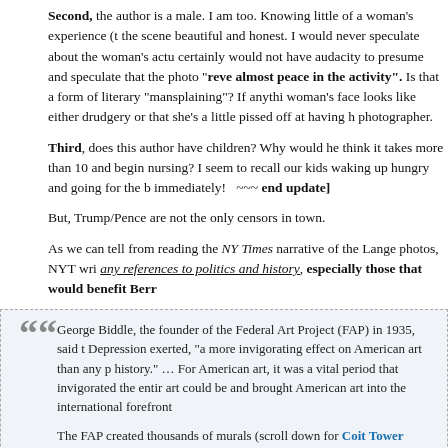Second, the author is a male. I am too. Knowing little of a woman's experience (... the scene beautiful and honest. I would never speculate about the woman's actu... certainly would not have audacity to presume and speculate that the photo "reveals almost peace in the activity". Is that a form of literary "mansplaining"? If anythi... woman's face looks like either drudgery or that she's a little pissed off at having h... photographer.
Third, does this author have children? Why would he think it takes more than 10... and begin nursing? I seem to recall our kids waking up hungry and going for the b... immediately!   ~~~ end update]
But, Trump/Pence are not the only censors in town.
As we can tell from reading the NY Times narrative of the Lange photos, NYT wri... any references to politics and history, especially those that would benefit Berr...
George Biddle, the founder of the Federal Art Project (FAP) in 1935, said t... Depression exerted, "a more invigorating effect on American art than any p... history." ... For American art, it was a vital period that invigorated the entir... art could be and brought American art into the international forefront
The FAP created thousands of murals (scroll down for Coit Tower murals)... across the country. Artist such as Jackson Pollock, Mark Rothko, Willem d... Nevelson, all left a moment of their creativity to posterity because of this p... Francis O'Connor said, "Something very vital indeed, something revolutio... culture during the 1930's."
One of the FAP's major activities was the index of American Design. Th...